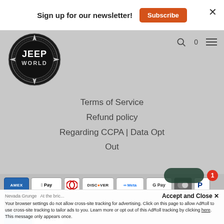Sign up for our newsletter!
Subscribe
[Figure (logo): Jeep World circular logo with compass-style design, black and white]
Terms of Service
Refund policy
Regarding CCPA | Data Opt Out
[Figure (infographic): Payment method icons: AMEX, Apple Pay, Diners Club, Discover, Meta Pay, Google Pay, Shop Pay, PayPal, OPay, Venmo, VISA]
Your browser settings do not allow cross-site tracking for advertising. Click on this page to allow AdRoll to use cross-site tracking to tailor ads to you. Learn more or opt out of this AdRoll tracking by clicking here. This message only appears once.